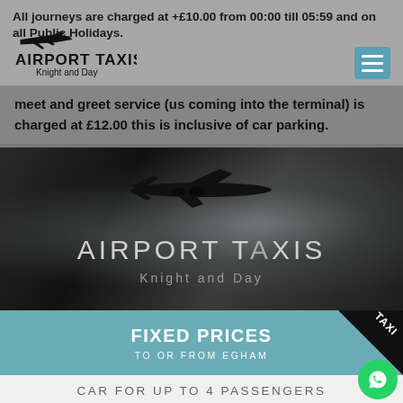All journeys are charged at +£10.00 from 00:00 till 05:59 and on all Public Holidays.
[Figure (logo): Airport Taxis Knight and Day logo with airplane silhouette]
meet and greet service (us coming into the terminal) is charged at £12.00 this is inclusive of car parking.
[Figure (logo): Airport Taxis Knight and Day large logo centered on dark swirl/eye background with airplane silhouette]
FIXED PRICES
TO OR FROM EGHAM
CAR FOR UP TO 4 PASSENGERS